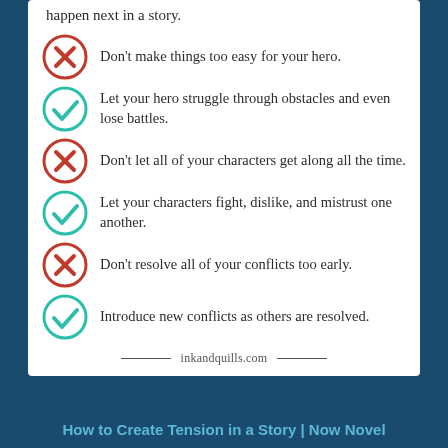happen next in a story.
Don't make things too easy for your hero.
Let your hero struggle through obstacles and even lose battles.
Don't let all of your characters get along all the time.
Let your characters fight, dislike, and mistrust one another.
Don't resolve all of your conflicts too early.
Introduce new conflicts as others are resolved.
inkandquills.com
How to Create Tension in a Story | Now Novel